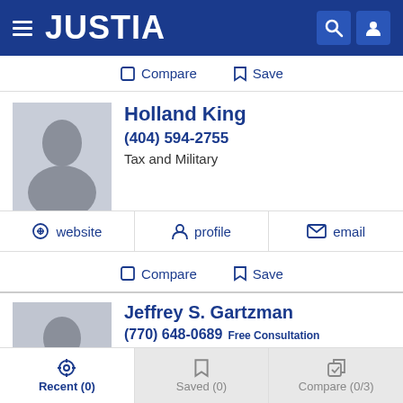JUSTIA
Compare  Save
Holland King
(404) 594-2755
Tax and Military
website  profile  email
Compare  Save
Jeffrey S. Gartzman
(770) 648-0689 Free Consultation
Tax
website  profile  email
Recent (0)  Saved (0)  Compare (0/3)